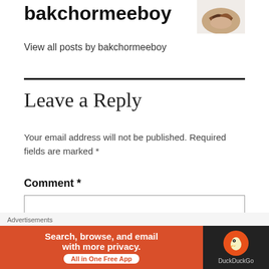bakchormeeboy
View all posts by bakchormeeboy
Leave a Reply
Your email address will not be published. Required fields are marked *
Comment *
[Figure (screenshot): Empty comment text area input box]
Advertisements
[Figure (screenshot): DuckDuckGo advertisement banner: Search, browse, and email with more privacy. All in One Free App]